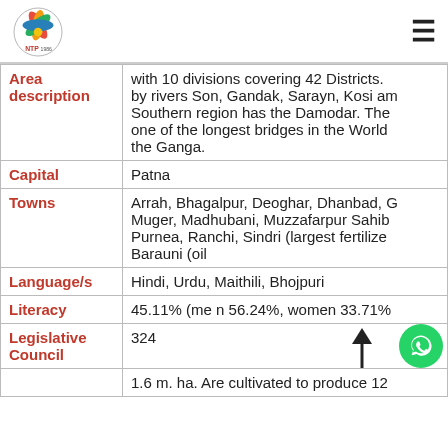NTP logo and hamburger menu
| Field | Value |
| --- | --- |
| Area description | with 10 divisions covering 42 Districts. by rivers Son, Gandak, Sarayn, Kosi and Southern region has the Damodar. The one of the longest bridges in the World the Ganga. |
| Capital | Patna |
| Towns | Arrah, Bhagalpur, Deoghar, Dhanbad, G Muger, Madhubani, Muzzafarpur Sahib Purnea, Ranchi, Sindri (largest fertilize Barauni (oil |
| Language/s | Hindi, Urdu, Maithili, Bhojpuri |
| Literacy | 45.11% (me n 56.24%, women 33.71% |
| Legislative Council | 324 |
|  | 1.6 m. ha. Are cultivated to produce 12 |